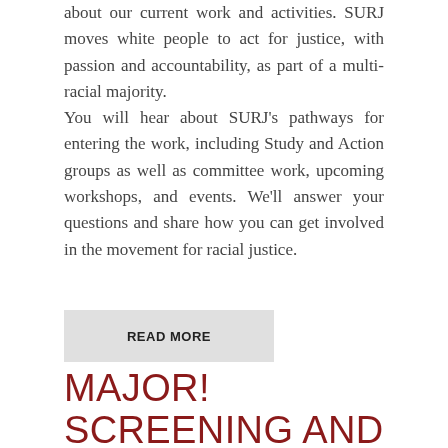about our current work and activities. SURJ moves white people to act for justice, with passion and accountability, as part of a multi-racial majority.
You will hear about SURJ's pathways for entering the work, including Study and Action groups as well as committee work, upcoming workshops, and events. We'll answer your questions and share how you can get involved in the movement for racial justice.
READ MORE
MAJOR! SCREENING AND FUNDRAISER FOR TGI